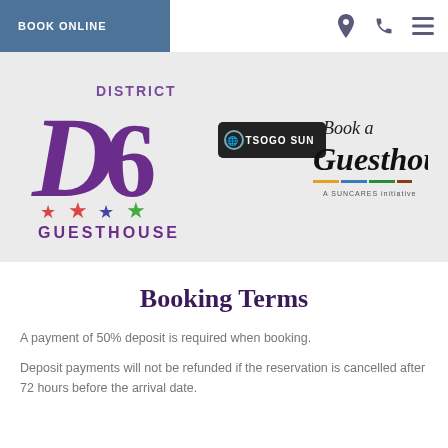BOOK ONLINE
[Figure (logo): District D6 Guesthouse logo with purple D6 lettering, stars, and GUESTHOUSE text]
[Figure (logo): Tsogo Sun Book a Guesthouse logo with A Suncares initiative tagline]
Booking Terms
A payment of 50% deposit is required when booking.
Deposit payments will not be refunded if the reservation is cancelled after 72 hours before the arrival date.